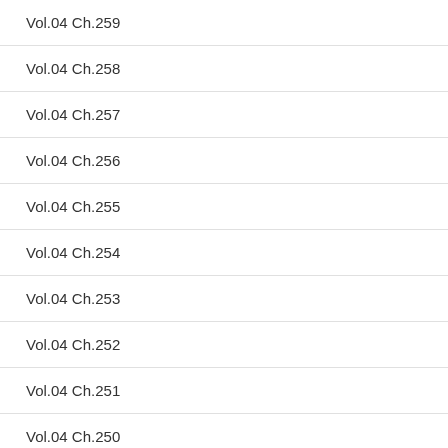Vol.04 Ch.259
Vol.04 Ch.258
Vol.04 Ch.257
Vol.04 Ch.256
Vol.04 Ch.255
Vol.04 Ch.254
Vol.04 Ch.253
Vol.04 Ch.252
Vol.04 Ch.251
Vol.04 Ch.250
Vol.04 Ch.249